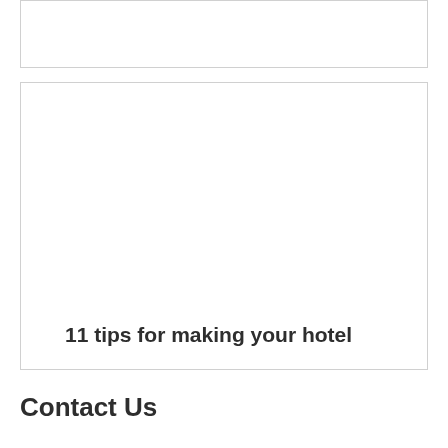[Figure (other): Top bordered box, content not visible (cropped or blank)]
[Figure (other): Card box with image area and article title partially visible]
11 tips for making your hotel
Contact Us